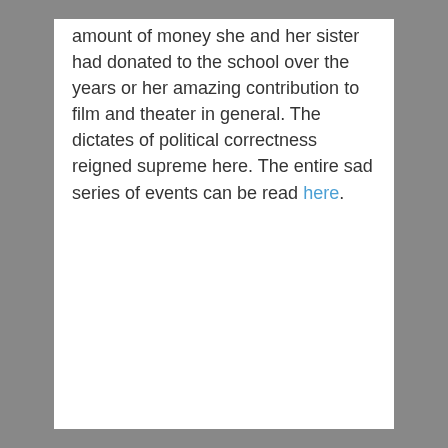amount of money she and her sister had donated to the school over the years or her amazing contribution to film and theater in general. The dictates of political correctness reigned supreme here. The entire sad series of events can be read here.